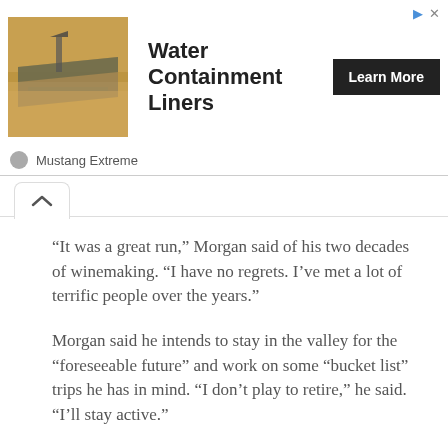[Figure (screenshot): Advertisement banner for 'Water Containment Liners' by Mustang Extreme, showing an aerial image of a liner installation and a 'Learn More' button.]
“It was a great run,” Morgan said of his two decades of winemaking. “I have no regrets. I’ve met a lot of terrific people over the years.”
Morgan said he intends to stay in the valley for the “foreseeable future” and work on some “bucket list” trips he has in mind. “I don’t play to retire,” he said. “I’ll stay active.”
FILED UNDER: BUSINESS, NEWS